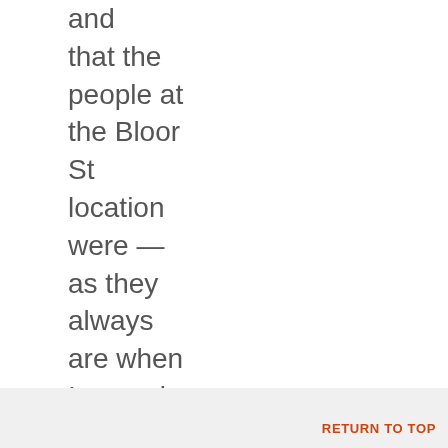and that the people at the Bloor St location were — as they always are when I come in just as a counter customer — super helpful and kind. They also gave
RETURN TO TOP